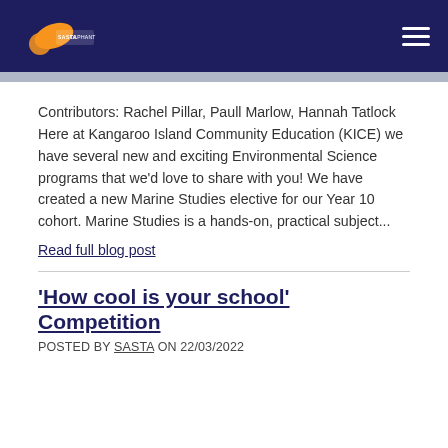[Figure (logo): SASTA logo with orange oval/ellipse shape on dark navy header bar]
Contributors: Rachel Pillar, Paull Marlow, Hannah Tatlock Here at Kangaroo Island Community Education (KICE) we have several new and exciting Environmental Science programs that we'd love to share with you! We have created a new Marine Studies elective for our Year 10 cohort. Marine Studies is a hands-on, practical subject...
Read full blog post
'How cool is your school' Competition
POSTED BY SASTA ON 22/03/2022